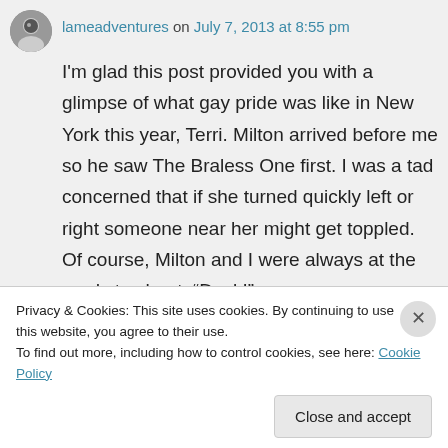lameadventures on July 7, 2013 at 8:55 pm
I'm glad this post provided you with a glimpse of what gay pride was like in New York this year, Terri. Milton arrived before me so he saw The Braless One first. I was a tad concerned that if she turned quickly left or right someone near her might get toppled. Of course, Milton and I were always at the ready to shout, “Duck!”
★ Like
Privacy & Cookies: This site uses cookies. By continuing to use this website, you agree to their use.
To find out more, including how to control cookies, see here: Cookie Policy
Close and accept